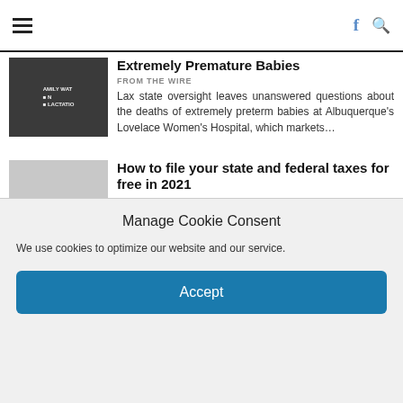Navigation bar with hamburger menu, Facebook icon, and search icon
Extremely Premature Babies
FROM THE WIRE
Lax state oversight leaves unanswered questions about the deaths of extremely preterm babies at Albuquerque's Lovelace Women's Hospital, which markets…
How to file your state and federal taxes for free in 2021
FROM THE WIRE
by Kristen Doerer for ProPublica, Justin Elliott and Karim Doumar The ProPublica Free Tax Guide Free, Fact-Checked Tax Information. That's…
America's drinking water is surprisingly easy to poison
Manage Cookie Consent
We use cookies to optimize our website and our service.
Accept